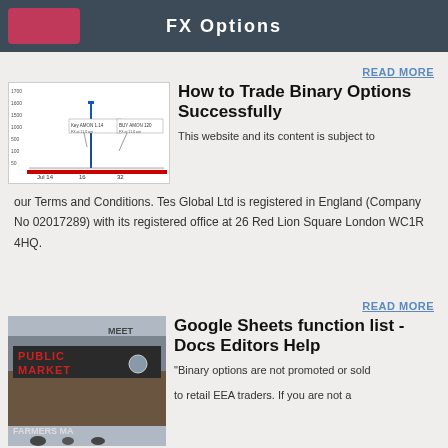FX Options
[Figure (continuous-plot): Line/spike chart showing binary options price data with labels 'Key AMON 1.14' and 'BUY AMON 120', x-axis dates Jul 14, 16, 32]
How to Trade Binary Options Successfully
This website and its content is subject to our Terms and Conditions. Tes Global Ltd is registered in England (Company No 02017289) with its registered office at 26 Red Lion Square London WC1R 4HQ.
[Figure (photo): Photo of a public market with 'PUBLIC MARKET' sign and 'FARMERS MA' sign visible]
Google Sheets function list - Docs Editors Help
"Binary options are not promoted or sold to retail EEA traders. If you are not a